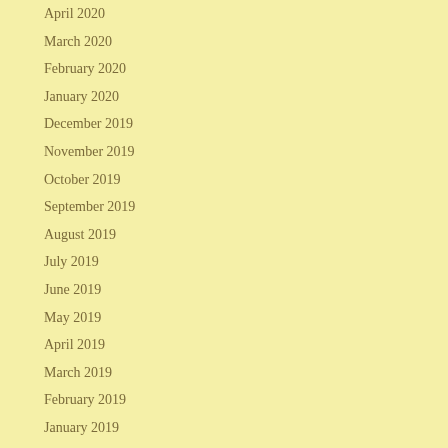April 2020
March 2020
February 2020
January 2020
December 2019
November 2019
October 2019
September 2019
August 2019
July 2019
June 2019
May 2019
April 2019
March 2019
February 2019
January 2019
December 2018
November 2018